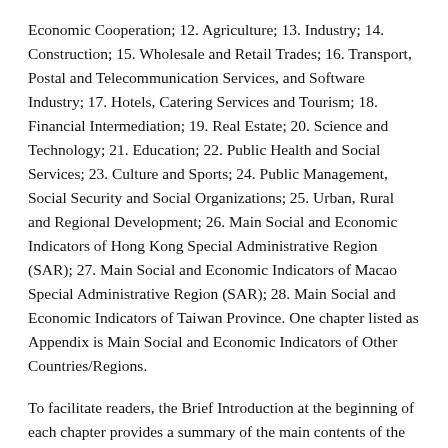Economic Cooperation; 12. Agriculture; 13. Industry; 14. Construction; 15. Wholesale and Retail Trades; 16. Transport, Postal and Telecommunication Services, and Software Industry; 17. Hotels, Catering Services and Tourism; 18. Financial Intermediation; 19. Real Estate; 20. Science and Technology; 21. Education; 22. Public Health and Social Services; 23. Culture and Sports; 24. Public Management, Social Security and Social Organizations; 25. Urban, Rural and Regional Development; 26. Main Social and Economic Indicators of Hong Kong Special Administrative Region (SAR); 27. Main Social and Economic Indicators of Macao Special Administrative Region (SAR); 28. Main Social and Economic Indicators of Taiwan Province. One chapter listed as Appendix is Main Social and Economic Indicators of Other Countries/Regions.
To facilitate readers, the Brief Introduction at the beginning of each chapter provides a summary of the main contents of the chapter, data sources, statistical scope, statistical methods and